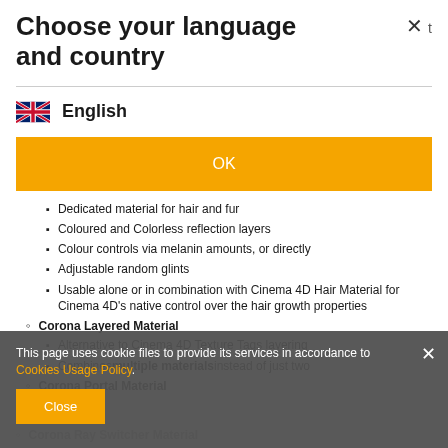Choose your language and country
English
OK
Dedicated material for hair and fur
Coloured and Colorless reflection layers
Colour controls via melanin amounts, or directly
Adjustable random glints
Usable alone or in combination with Cinema 4D Hair Material for Cinema 4D's native control over the hair growth properties
Corona Layered Material
Alternative to Cinema 4D Texture Tags layering
Combines multiple materials instead of just two
Corona Portal Material
This page uses cookie files to provide its services in accordance to Cookies Usage Policy.
Close
Corona Ray Switcher Material